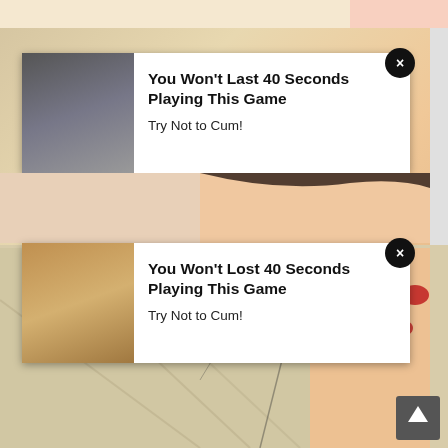[Figure (screenshot): Adult content webpage screenshot showing two overlaid advertisement popups over manga/anime and video content]
You Won't Last 40 Seconds Playing This Game
Try Not to Cum!
You Won't Lost 40 Seconds Playing This Game
Try Not to Cum!